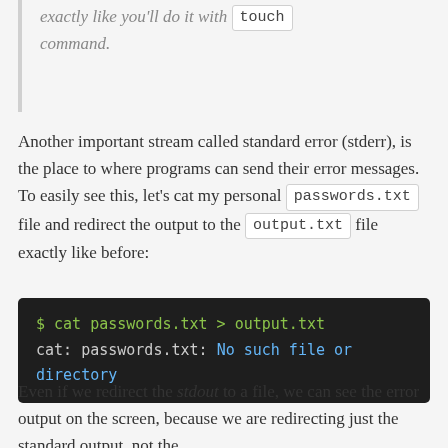exactly like you'll do it with touch command.
Another important stream called standard error (stderr), is the place to where programs can send their error messages. To easily see this, let's cat my personal passwords.txt file and redirect the output to the output.txt file exactly like before:
[Figure (screenshot): Dark terminal code block showing: $ cat passwords.txt > output.txt on first line in green, and cat: passwords.txt: No such file or directory on second line with error in blue]
Even if we redirect the stdout to a file, we can see the error output on the screen, because we are redirecting just the standard output, not the